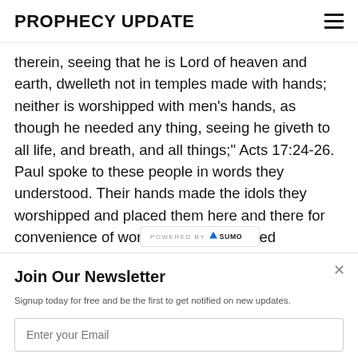PROPHECY UPDATE
therein, seeing that he is Lord of heaven and earth, dwelleth not in temples made with hands; neither is worshipped with men's hands, as though he needed any thing, seeing he giveth to all life, and breath, and all things;" Acts 17:24-26. Paul spoke to these people in words they understood. Their hands made the idols they worshipped and placed them here and there for convenience of worship, not the created
Join Our Newsletter
Signup today for free and be the first to get notified on new updates.
Enter your Email
Subscribe Now